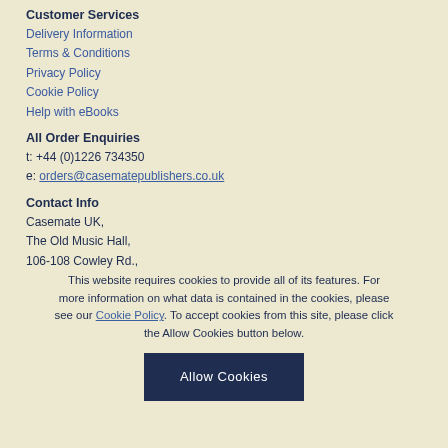Customer Services
Delivery Information
Terms & Conditions
Privacy Policy
Cookie Policy
Help with eBooks
All Order Enquiries
t: +44 (0)1226 734350
e: orders@casematepublishers.co.uk
Contact Info
Casemate UK,
The Old Music Hall,
106-108 Cowley Rd.,
This website requires cookies to provide all of its features. For more information on what data is contained in the cookies, please see our Cookie Policy. To accept cookies from this site, please click the Allow Cookies button below.
Allow Cookies